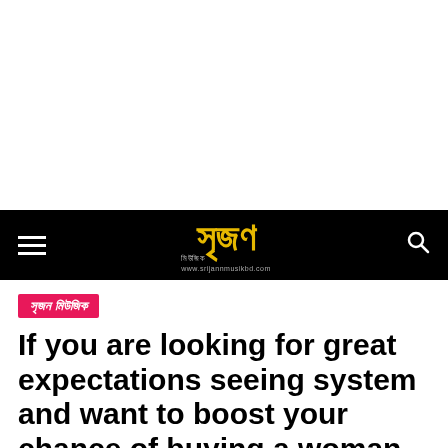সৃজন মিউজিক — www.srijannmusikbd.com
সৃজন মিউজিক
If you are looking for great expectations seeing system and want to boost your chance of buying a woman, then you definitely will be surprised by